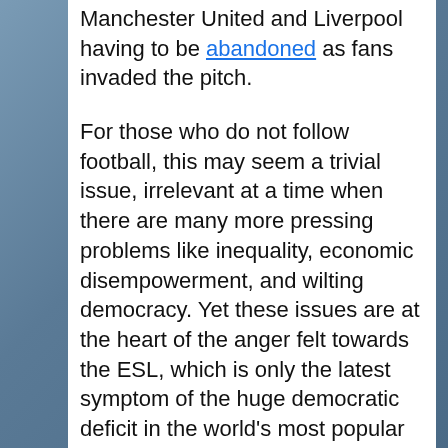Manchester United and Liverpool having to be abandoned as fans invaded the pitch.
For those who do not follow football, this may seem a trivial issue, irrelevant at a time when there are many more pressing problems like inequality, economic disempowerment, and wilting democracy. Yet these issues are at the heart of the anger felt towards the ESL, which is only the latest symptom of the huge democratic deficit in the world's most popular and lucrative sport; between the fans who give their loyalty to their club and the owners who give theirs to their bank balance.
Modern football was born in Britain's industrial heartlands during the late-19th century. It had previously been the reserve of gentlemanly...